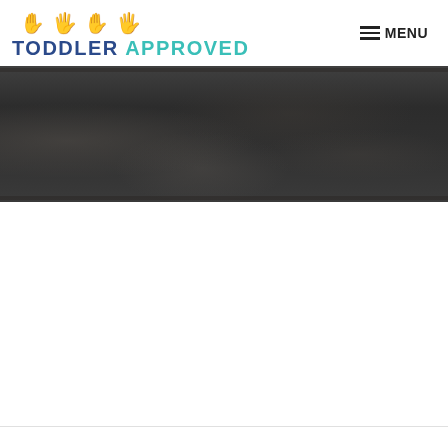TODDLER APPROVED — MENU
[Figure (photo): Dark textured surface/chalkboard strip spanning the width of the page, appearing as a dark gray/black horizontal band]
[Figure (photo): White blank area below the dark strip, likely content area of a web page]